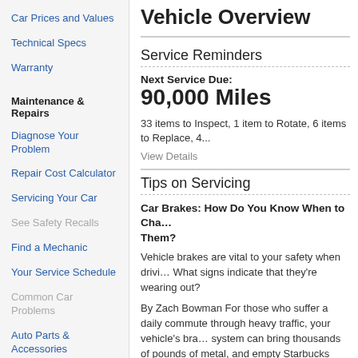Car Prices and Values
Technical Specs
Warranty
Maintenance & Repairs
Diagnose Your Problem
Repair Cost Calculator
Servicing Your Car
See Safety Recalls
Find a Mechanic
Your Service Schedule
Common Car Problems
Auto Parts & Accessories
Community Q & A
Reviews
Expert Reviews
Vehicle Overview
Service Reminders
Next Service Due:
90,000 Miles
33 items to Inspect, 1 item to Rotate, 6 items to Replace, 4...
View Details
Tips on Servicing
Car Brakes: How Do You Know When to Change Them?
Vehicle brakes are vital to your safety when driving. What signs indicate that they're wearing out?
By Zach Bowman For those who suffer a daily commute through heavy traffic, your vehicle's brake system can bring thousands of pounds of metal, and empty Starbucks cups to a stop hundreds of times before you get to work. It goes without saying that these pieces wear out, but they do so slowly, meaning you may not notice they need attention until  ... Read